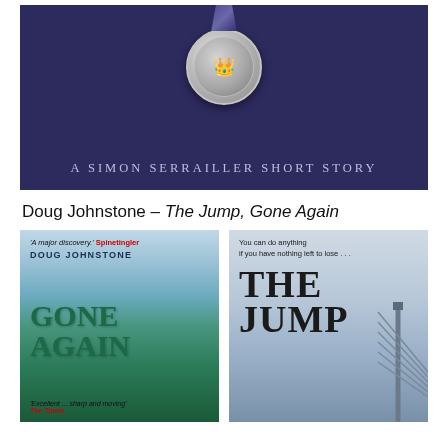[Figure (illustration): Book cover image showing a military medal on a dark navy/purple background with text 'A SIMON SERRAILLER SHORT STORY' below it]
Doug Johnstone – The Jump, Gone Again
[Figure (photo): Book cover for 'Gone Again' by Doug Johnstone with quote 'A major discovery' Spinetingler and 'Excellent ... sharp and moving' The Times on a teal/green background]
[Figure (photo): Book cover for 'The Jump' with tagline 'You can do anything if you have nothing left to lose...' showing a bridge structure on a grey-blue background]